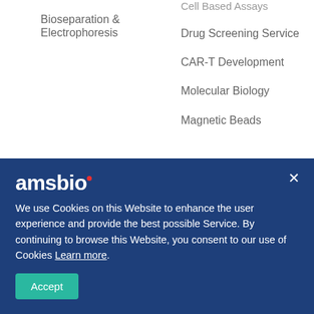Bioseparation & Electrophoresis
Cell Based Assays
Drug Screening Service
CAR-T Development
Molecular Biology
Magnetic Beads
Support
About Us
Product Citations
Partners
amsbio
We use Cookies on this Website to enhance the user experience and provide the best possible Service. By continuing to browse this Website, you consent to our use of Cookies Learn more.
Accept